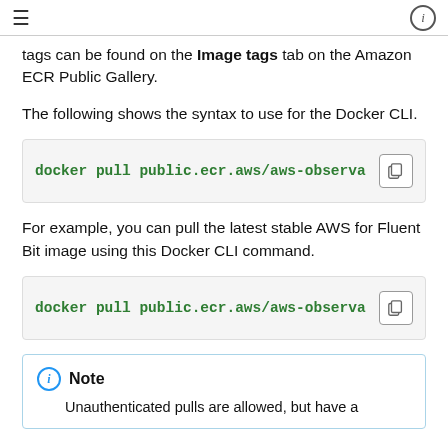≡  ⓘ
tags can be found on the Image tags tab on the Amazon ECR Public Gallery.
The following shows the syntax to use for the Docker CLI.
docker pull public.ecr.aws/aws-observa…
For example, you can pull the latest stable AWS for Fluent Bit image using this Docker CLI command.
docker pull public.ecr.aws/aws-observa…
Note
Unauthenticated pulls are allowed, but have a